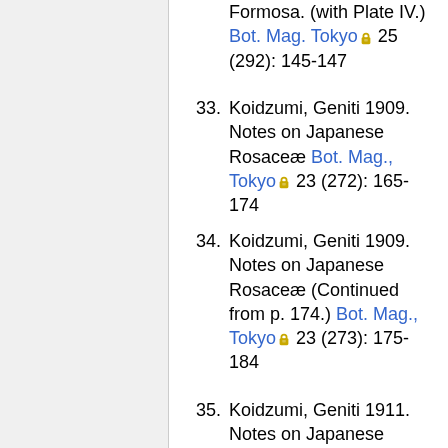Formosa. (with Plate IV.) Bot. Mag. Tokyo 25 (292): 145-147
33. Koidzumi, Geniti 1909. Notes on Japanese Rosaceæ Bot. Mag., Tokyo 23 (272): 165-174
34. Koidzumi, Geniti 1909. Notes on Japanese Rosaceæ (Continued from p. 174.) Bot. Mag., Tokyo 23 (273): 175-184
35. Koidzumi, Geniti 1911. Notes on Japanese Rosaceæ II. Bot. Mag...